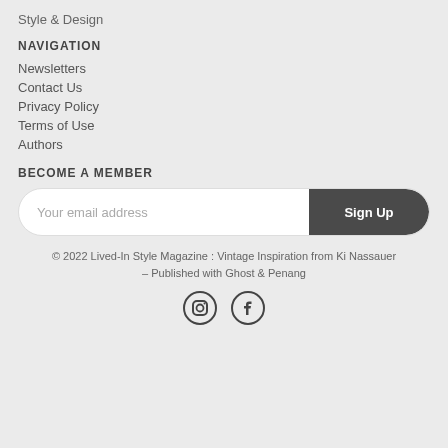Style & Design
NAVIGATION
Newsletters
Contact Us
Privacy Policy
Terms of Use
Authors
BECOME A MEMBER
Your email address   Sign Up
© 2022 Lived-In Style Magazine : Vintage Inspiration from Ki Nassauer – Published with Ghost & Penang
[Figure (other): Instagram and Facebook social media icons]